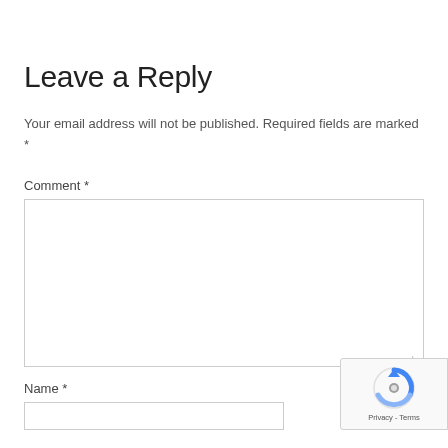Leave a Reply
Your email address will not be published. Required fields are marked *
Comment *
Name *
[Figure (other): Google reCAPTCHA badge widget showing the reCAPTCHA logo and Privacy - Terms links]